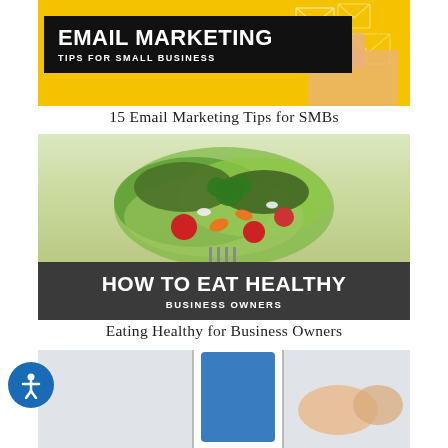[Figure (infographic): Email Marketing Tips for Small Business infographic header image with yellow background, hand, envelope icons, and black banner with white text]
15 Email Marketing Tips for SMBs
[Figure (infographic): How to Eat Healthy Business Owners infographic with salad photo on green background and dark banner with white text]
Eating Healthy for Business Owners
[Figure (photo): Partial photo showing a smartphone being held, partially visible at bottom of page]